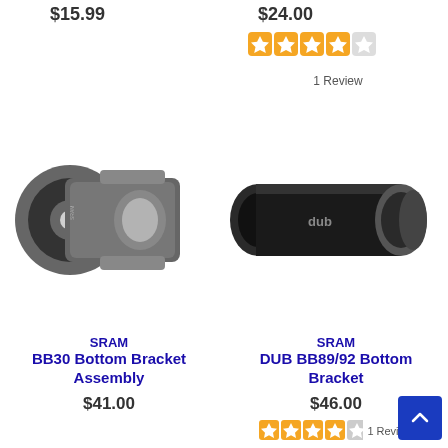$15.99
$24.00
[Figure (other): Star rating: 4 out of 5 stars (orange), 1 Review]
[Figure (photo): SRAM BB30 Bottom Bracket Assembly product photo]
[Figure (photo): SRAM DUB BB89/92 Bottom Bracket product photo]
SRAM
BB30 Bottom Bracket Assembly
$41.00
SRAM
DUB BB89/92 Bottom Bracket
$46.00
[Figure (other): Star rating: 4 out of 5 stars (orange), 1 Review]